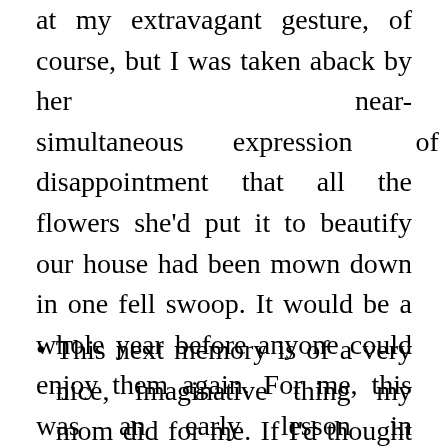at my extravagant gesture, of course, but I was taken aback by her near-simultaneous expression of disappointment that all the flowers she'd put it to beautify our house had been mown down in one fell swoop. It would be a whole year before anyone could enjoy them again. For me, this was an early lesson in unintended consequences.
This next memory is of a very nice, imaginative thing my mom did for me. If I'd thought of it two years ago